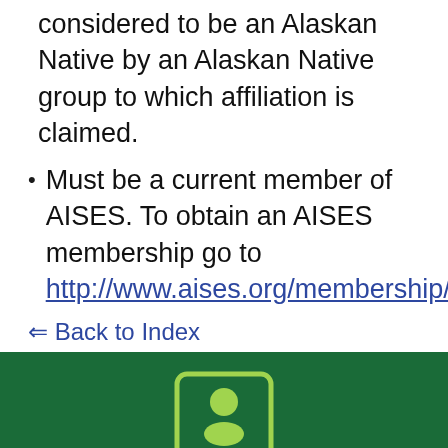considered to be an Alaskan Native by an Alaskan Native group to which affiliation is claimed.
Must be a current member of AISES. To obtain an AISES membership go to http://www.aises.org/membership/
⇐ Back to Index
[Figure (illustration): ID card icon in lime green on dark green background with person silhouette and lines representing text]
APPLY NOW
[Figure (illustration): Circular icon partially visible at bottom on dark green background]